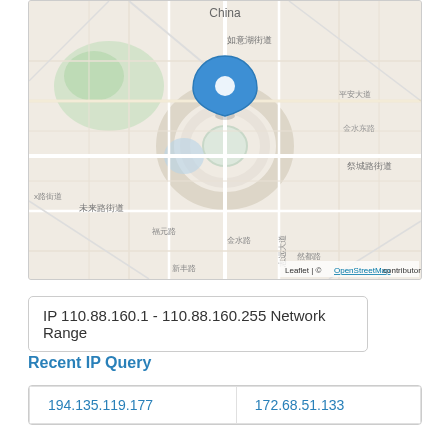[Figure (map): OpenStreetMap map centered on a location in Beijing, China, showing Chinese street labels including 如意湖街道, 未来路街道, 祭城路街道, 金水路, 平安大道, 福元路, 然都路, 新丰路. A blue location pin marker is placed in the upper-center area of the map. Attribution reads: Leaflet | © OpenStreetMap contributors]
IP 110.88.160.1 - 110.88.160.255 Network Range
Recent IP Query
| 194.135.119.177 | 172.68.51.133 |